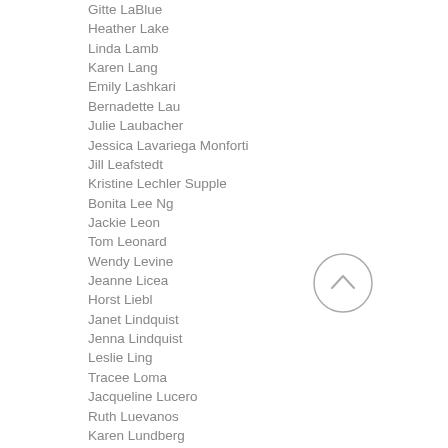Gitte LaBlue
Heather Lake
Linda Lamb
Karen Lang
Emily Lashkari
Bernadette Lau
Julie Laubacher
Jessica Lavariega Monforti
Jill Leafstedt
Kristine Lechler Supple
Bonita Lee Ng
Jackie Leon
Tom Leonard
Wendy Levine
Jeanne Licea
Horst Liebl
Janet Lindquist
Jenna Lindquist
Leslie Ling
Tracee Loma
Jacqueline Lucero
Ruth Luevanos
Karen Lundberg
Lana Lundin
Susan Marcelletti
Michael Mariani
Mike Marostica, Sr.
Dena Marshall
Jennifer Martin (partially visible)
[Figure (other): A circular back/up navigation button with a chevron arrow pointing upward, stroke only, light gray border]